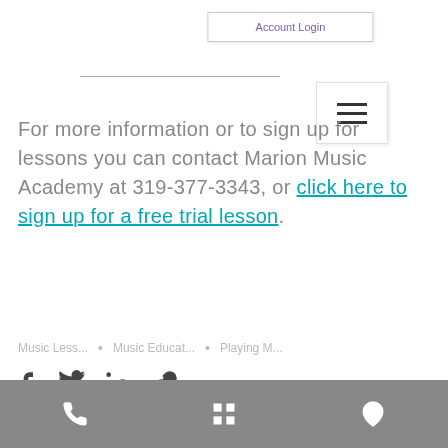Account Login
For more information or to sign up for lessons you can contact Marion Music Academy at 319-377-3343, or click here to sign up for a free trial lesson.
Music Less... • Music Educat... • Playing M...
Footer navigation bar with phone, menu, and location icons